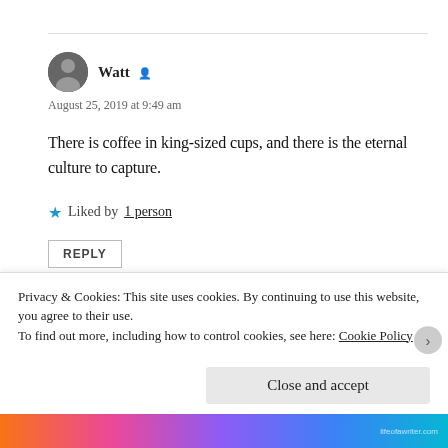Watt
August 25, 2019 at 9:49 am
There is coffee in king-sized cups, and there is the eternal culture to capture.
Liked by 1 person
REPLY
Privacy & Cookies: This site uses cookies. By continuing to use this website, you agree to their use. To find out more, including how to control cookies, see here: Cookie Policy
Close and accept